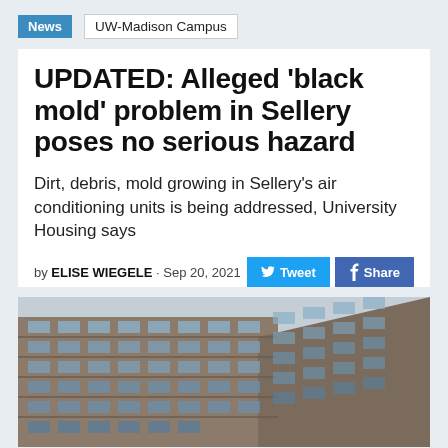News  UW-Madison Campus
UPDATED: Alleged ‘black mold’ problem in Sellery poses no serious hazard
Dirt, debris, mold growing in Sellery’s air conditioning units is being addressed, University Housing says
by ELISE WIEGELE · Sep 20, 2021
[Figure (photo): Exterior photo of a multi-story brutalist brick dormitory building (Sellery Hall) viewed from below at an angle, showing rows of windows against a grey sky.]